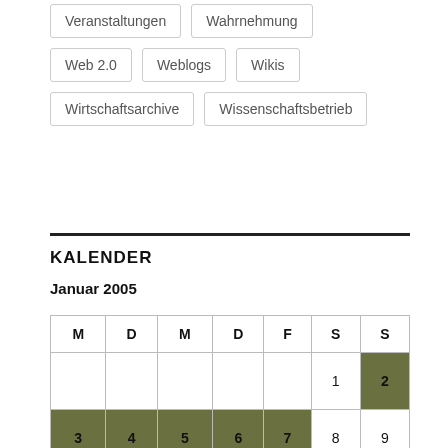Veranstaltungen
Wahrnehmung
Web 2.0
Weblogs
Wikis
Wirtschaftsarchive
Wissenschaftsbetrieb
KALENDER
Januar 2005
| M | D | M | D | F | S | S |
| --- | --- | --- | --- | --- | --- | --- |
|  |  |  |  |  | 1 | 2 |
| 3 | 4 | 5 | 6 | 7 | 8 | 9 |